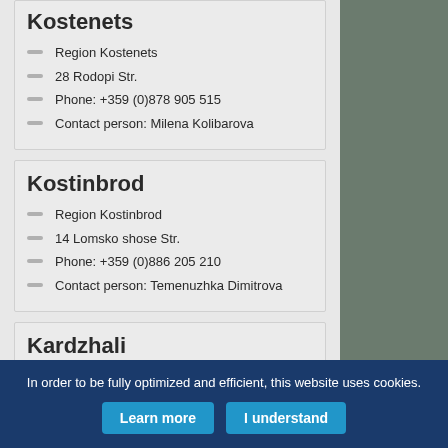Kostenets
Region Kostenets
28 Rodopi Str.
Phone: +359 (0)878 905 515
Contact person: Milena Kolibarova
Kostinbrod
Region Kostinbrod
14 Lomsko shose Str.
Phone: +359 (0)886 205 210
Contact person: Temenuzhka Dimitrova
Kardzhali
Region Kardzhali
Bulgaria Str. /near to Aptechno/
Phone: +359 (0)888 509 070
Contact person: Emil Chilingirov
In order to be fully optimized and efficient, this website uses cookies.
Learn more
I understand